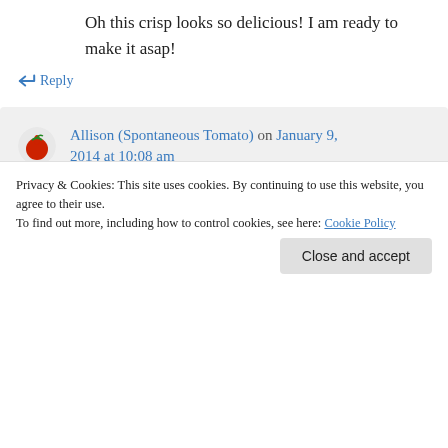Oh this crisp looks so delicious! I am ready to make it asap!
↪ Reply
Allison (Spontaneous Tomato) on January 9, 2014 at 10:08 am
Yay, I'm so happy to hear that! I hope you enjoy it. :)
↪ Reply
Privacy & Cookies: This site uses cookies. By continuing to use this website, you agree to their use. To find out more, including how to control cookies, see here: Cookie Policy
the name of it as soon as I read it. Glad that I